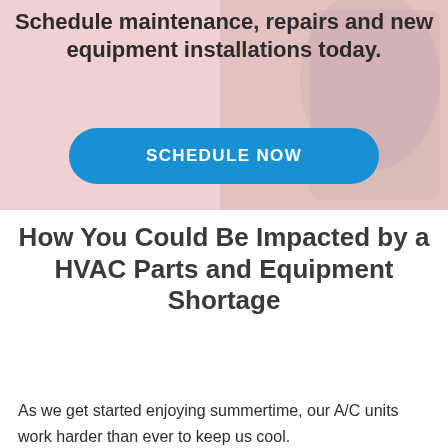[Figure (photo): Pink/rose background with faded worker/technician silhouette on the right side, containing headline text and a blue Schedule Now button.]
Schedule maintenance, repairs and new equipment installations today.
SCHEDULE NOW
How You Could Be Impacted by a HVAC Parts and Equipment Shortage
As we get started enjoying summertime, our A/C units work harder than ever to keep us cool.